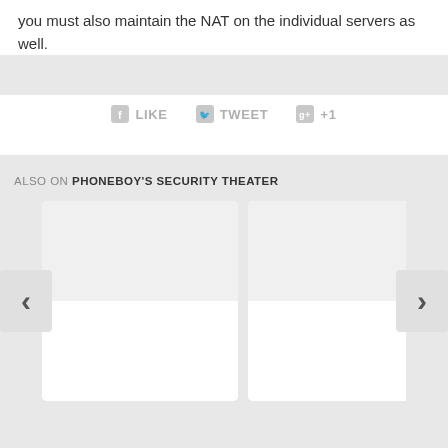you must also maintain the NAT on the individual servers as well.
[Figure (screenshot): Social sharing buttons: Facebook LIKE, Twitter TWEET, Google +1]
ALSO ON PHONEBOY'S SECURITY THEATER
[Figure (screenshot): Article cards carousel with left and right navigation arrows, showing two visible white card placeholders and a partial third card]